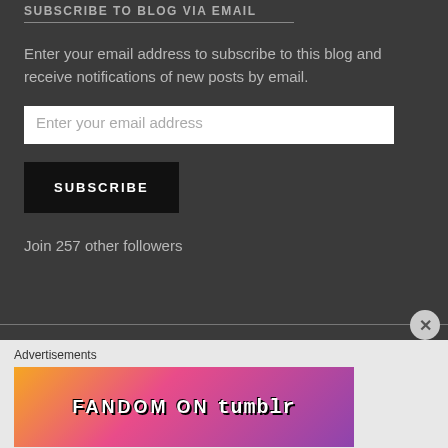SUBSCRIBE TO BLOG VIA EMAIL
Enter your email address to subscribe to this blog and receive notifications of new posts by email.
Enter your email address
SUBSCRIBE
Join 257 other followers
Advertisements
[Figure (illustration): FANDOM ON tumblr advertisement banner with colorful gradient background in orange, pink, and purple with decorative icons]